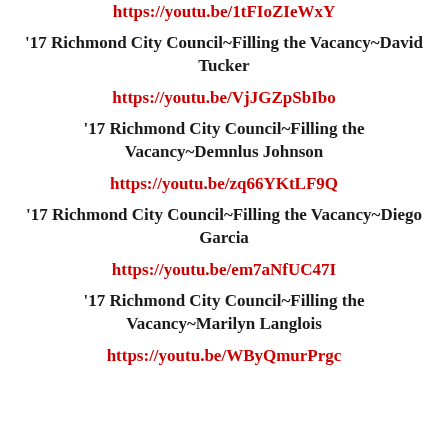https://youtu.be/1tFIoZIeWxY
'17 Richmond City Council~Filling the Vacancy~David Tucker
https://youtu.be/VjJGZpSbIbo
'17 Richmond City Council~Filling the Vacancy~Demnlus Johnson
https://youtu.be/zq66YKtLF9Q
'17 Richmond City Council~Filling the Vacancy~Diego Garcia
https://youtu.be/em7aNfUC47I
'17 Richmond City Council~Filling the Vacancy~Marilyn Langlois
https://youtu.be/WByQmurPrgc